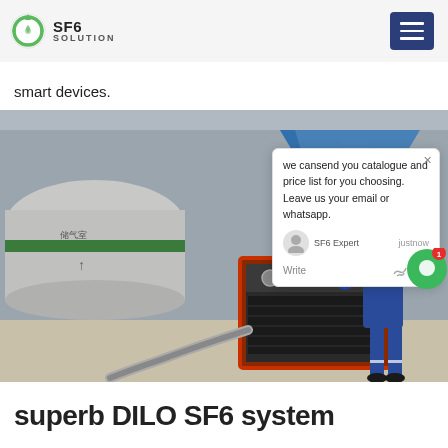SF6 SOLUTION
smart devices.
[Figure (photo): A technician in blue protective gear and hard hat operating an SF6 gas recovery machine at an industrial site with large cylindrical tanks. A chat popup overlay is visible on the right side of the image.]
we cansend you catalogue and price list for you choosing. Leave us your email or whatsapp.
SF6 Expert   justnow
Write
superb DILO SF6 system